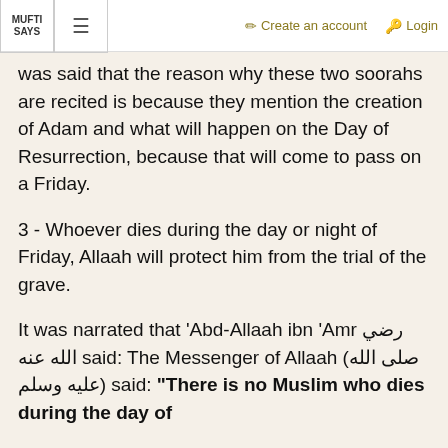MUFTI SAYS | ≡ | Create an account | Login
was said that the reason why these two soorahs are recited is because they mention the creation of Adam and what will happen on the Day of Resurrection, because that will come to pass on a Friday.
3 - Whoever dies during the day or night of Friday, Allaah will protect him from the trial of the grave.
It was narrated that 'Abd-Allaah ibn 'Amr رضي الله عنه said: The Messenger of Allaah (صلى الله عليه وسلم) said: "There is no Muslim who dies during the day of Friday or the night of Friday, but Allaah..."